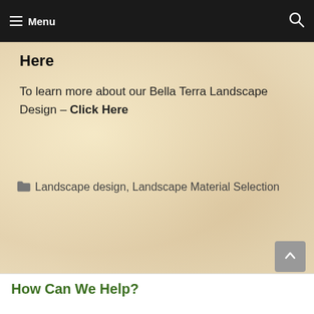Menu
Here
To learn more about our Bella Terra Landscape Design – Click Here
📁 Landscape design, Landscape Material Selection
How Can We Help?